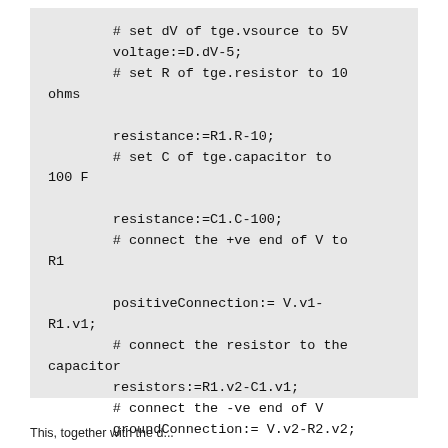[Figure (screenshot): Code block on grey background showing circuit configuration script: setting dV of tge.vsource to 5V (voltage:=D.dV-5), setting R of tge.resistor to 10 ohms (resistance:=R1.R-10), setting C of tge.capacitor to 100 F (resistance:=C1.C-100), connecting +ve end of V to R1 (positiveConnection:= V.v1-R1.v1), connecting resistor to capacitor (resistors:=R1.v2-C1.v1), connecting -ve end of V (groundConnection:= V.v2-R2.v2)]
This, together with the d...